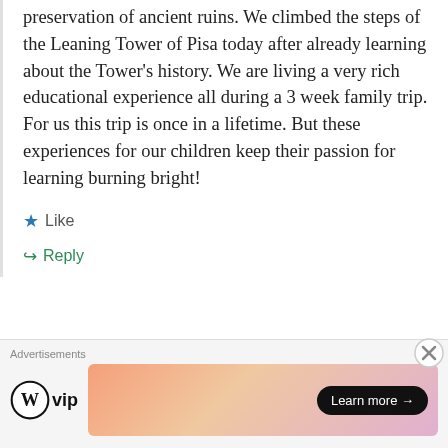preservation of ancient ruins. We climbed the steps of the Leaning Tower of Pisa today after already learning about the Tower's history. We are living a very rich educational experience all during a 3 week family trip. For us this trip is once in a lifetime. But these experiences for our children keep their passion for learning burning bright!
★ Like
↵ Reply
thecontemporaryhomeschooler
Advertisements
[Figure (logo): WordPress VIP logo with circular W icon and 'vip' text]
[Figure (illustration): Colorful gradient advertisement banner with 'Learn more →' button]